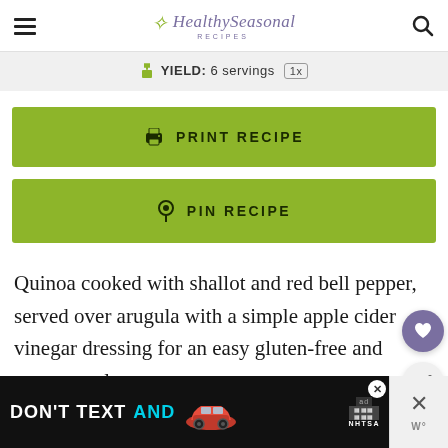Healthy Seasonal Recipes
YIELD: 6 servings 1x
PRINT RECIPE
PIN RECIPE
Quinoa cooked with shallot and red bell pepper, served over arugula with a simple apple cider vinegar dressing for an easy gluten-free and vegan meal
[Figure (screenshot): Advertisement banner: DON'T TEXT AND with a red car illustration and NHTSA logo]